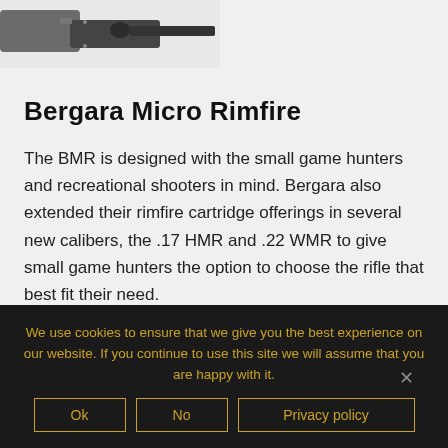[Figure (photo): Partial black and white photograph of a rifle (Bergara Micro Rimfire), cropped at the top of the page showing the barrel and action area against a light background.]
Bergara Micro Rimfire
The BMR is designed with the small game hunters and recreational shooters in mind. Bergara also extended their rimfire cartridge offerings in several new calibers, the .17 HMR and .22 WMR to give small game hunters the option to choose the rifle that best fit their need.
We use cookies to ensure that we give you the best experience on our website. If you continue to use this site we will assume that you are happy with it.
Ok  No  Privacy policy